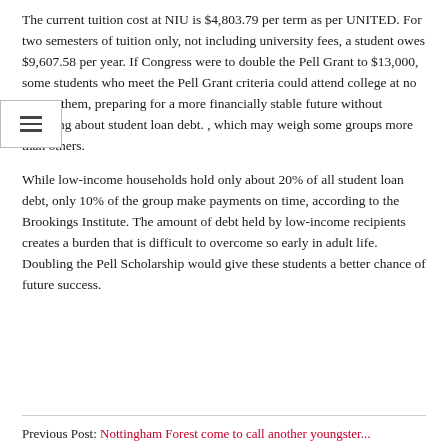The current tuition cost at NIU is $4,803.79 per term as per UNITED. For two semesters of tuition only, not including university fees, a student owes $9,607.58 per year. If Congress were to double the Pell Grant to $13,000, some students who meet the Pell Grant criteria could attend college at no cost to them, preparing for a more financially stable future without worrying about student loan debt. , which may weigh some groups more than others.
While low-income households hold only about 20% of all student loan debt, only 10% of the group make payments on time, according to the Brookings Institute. The amount of debt held by low-income recipients creates a burden that is difficult to overcome so early in adult life. Doubling the Pell Scholarship would give these students a better chance of future success.
Previous Post: Nottingham Forest come to call another youngster...